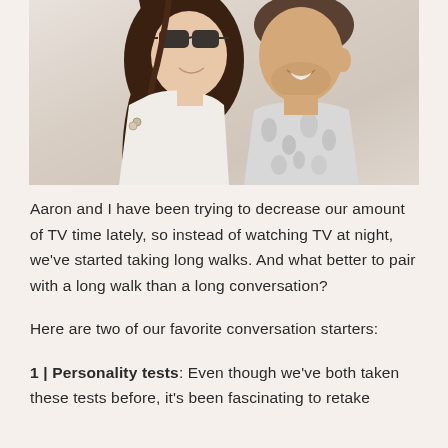[Figure (photo): A smiling couple close together; the woman has long dark hair and sunglasses, the man has facial stubble and wears a floral/tropical print shirt.]
Aaron and I have been trying to decrease our amount of TV time lately, so instead of watching TV at night, we've started taking long walks. And what better to pair with a long walk than a long conversation?
Here are two of our favorite conversation starters:
1 | Personality tests: Even though we've both taken these tests before, it's been fascinating to retake